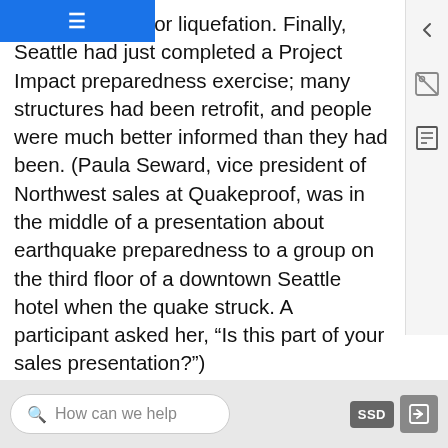≡
g the potential for liquefation. Finally, Seattle had just completed a Project Impact preparedness exercise; many structures had been retrofit, and people were much better informed than they had been. (Paula Seward, vice president of Northwest sales at Quakeproof, was in the middle of a presentation about earthquake preparedness to a group on the third floor of a downtown Seattle hotel when the quake struck. A participant asked her, “Is this part of your sales presentation?”)
In short, this was not the Big One. As Bill Steele of the Pacific Northwest Seismograph Network put it, “If you’re going to have a magnitude 7 in the Puget Sound area, let it be a deep one.”
How can we help    SSD